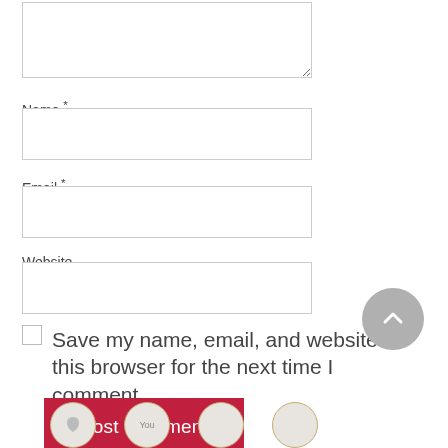[Figure (screenshot): Partial comment form textarea at top of page]
Name *
[Figure (screenshot): Name text input field]
Email *
[Figure (screenshot): Email text input field]
Website
[Figure (screenshot): Website text input field]
Save my name, email, and website in this browser for the next time I comment.
Post Comment